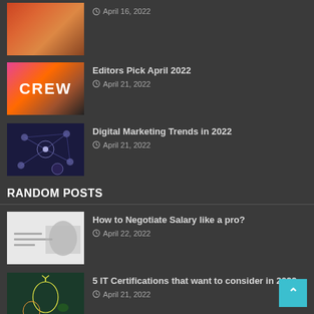April 16, 2022
Editors Pick April 2022 — April 21, 2022
Digital Marketing Trends in 2022 — April 21, 2022
RANDOM POSTS
How to Negotiate Salary like a pro? — April 22, 2022
5 IT Certifications that want to consider in 2022 — April 21, 2022
Why should you outsource your HR tasks?